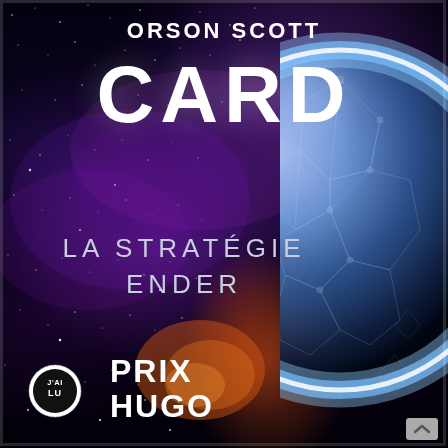[Figure (illustration): Book cover for 'La Stratégie Ender' by Orson Scott Card (J'ai Lu edition). Dark space background with purple and magenta nebula clouds, orange-red stellar nursery at lower center-left, and a large planet or Earth visible on the right side glowing with blue-white atmospheric light and geometric network patterns. Stars scattered throughout.]
ORSON SCOTT CARD
CARD
LA STRATÉGIE ENDER
PRIX HUGO
[Figure (logo): J'AI LU publisher logo — circular badge with 'J'AI LU' text in white on black background]